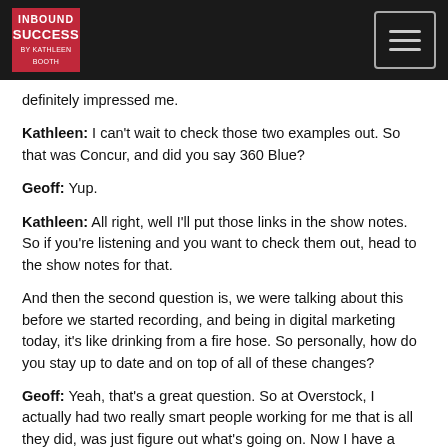Inbound Success
definitely impressed me.
Kathleen: I can't wait to check those two examples out. So that was Concur, and did you say 360 Blue?
Geoff: Yup.
Kathleen: All right, well I'll put those links in the show notes. So if you're listening and you want to check them out, head to the show notes for that.
And then the second question is, we were talking about this before we started recording, and being in digital marketing today, it's like drinking from a fire hose. So personally, how do you stay up to date and on top of all of these changes?
Geoff: Yeah, that's a great question. So at Overstock, I actually had two really smart people working for me that is all they did, was just figure out what's going on. Now I have a CTO that really knows this stuff and instead of ... I've kind of gone a little counterculture on this. So instead of going to all the conferences like I used to and having my ear to the ground, I am taking a much more technical approach now.